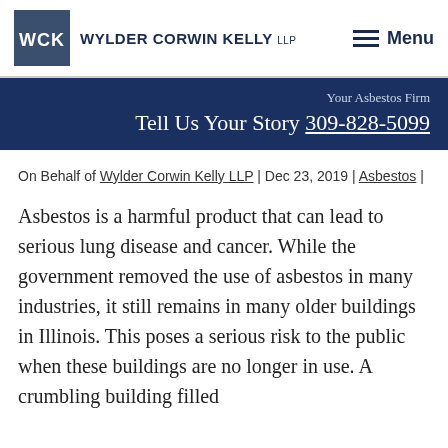WCK WYLDER CORWIN KELLY LLP  Menu
Your Asbestos Firm
Tell Us Your Story 309-828-5099
On Behalf of Wylder Corwin Kelly LLP | Dec 23, 2019 | Asbestos |
Asbestos is a harmful product that can lead to serious lung disease and cancer. While the government removed the use of asbestos in many industries, it still remains in many older buildings in Illinois. This poses a serious risk to the public when these buildings are no longer in use. A crumbling building filled